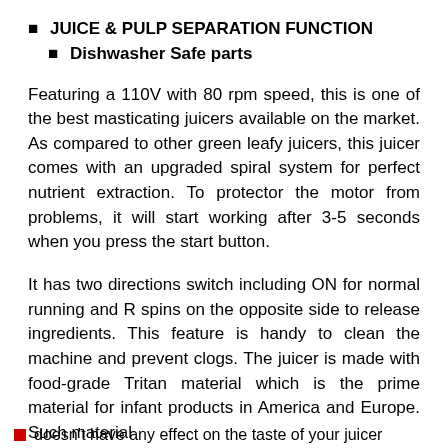JUICE & PULP SEPARATION FUNCTION
Dishwasher Safe parts
Featuring a 110V with 80 rpm speed, this is one of the best masticating juicers available on the market. As compared to other green leafy juicers, this juicer comes with an upgraded spiral system for perfect nutrient extraction. To protector the motor from problems, it will start working after 3-5 seconds when you press the start button.
It has two directions switch including ON for normal running and R spins on the opposite side to release ingredients. This feature is handy to clean the machine and prevent clogs. The juicer is made with food-grade Tritan material which is the prime material for infant products in America and Europe. Such material doesn’t have any effect on the taste of your juicer